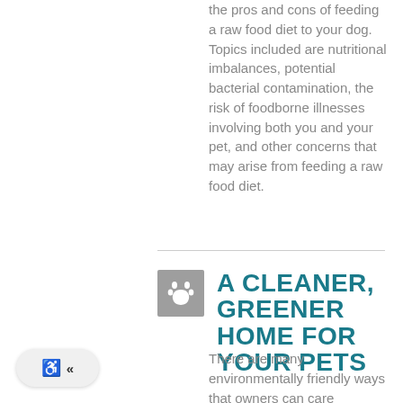the pros and cons of feeding a raw food diet to your dog. Topics included are nutritional imbalances, potential bacterial contamination, the risk of foodborne illnesses involving both you and your pet, and other concerns that may arise from feeding a raw food diet.
A CLEANER, GREENER HOME FOR YOUR PETS
There are many environmentally friendly ways that owners can care